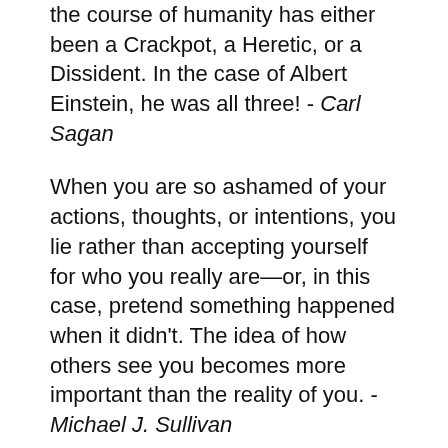the course of humanity has either been a Crackpot, a Heretic, or a Dissident. In the case of Albert Einstein, he was all three! - Carl Sagan
When you are so ashamed of your actions, thoughts, or intentions, you lie rather than accepting yourself for who you really are—or, in this case, pretend something happened when it didn't. The idea of how others see you becomes more important than the reality of you. - Michael J. Sullivan
Truth has nothing to do with words. Truth can be likened to the bright moon in the sky. Words, in this case, can be likened to a finger. The finger can point to the moon's